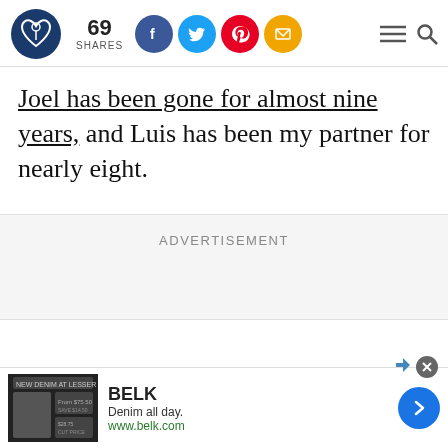Logo and social share bar: 69 SHARES, Facebook, Twitter, Pinterest, Email icons, menu and search icons
Joel has been gone for almost nine years, and Luis has been my partner for nearly eight.
ADVERTISEMENT
[Figure (screenshot): BELK advertisement banner: 'Denim all day. www.belk.com' with denim clothing image and blue arrow navigation button]